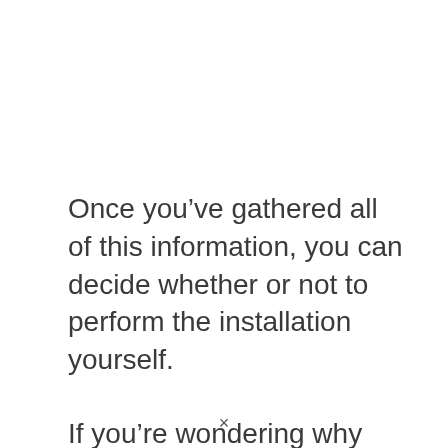Once you've gathered all of this information, you can decide whether or not to perform the installation yourself.
If you're wondering why you'd need to purchase a faucet, the first reason is to ensure that your water source runs
×